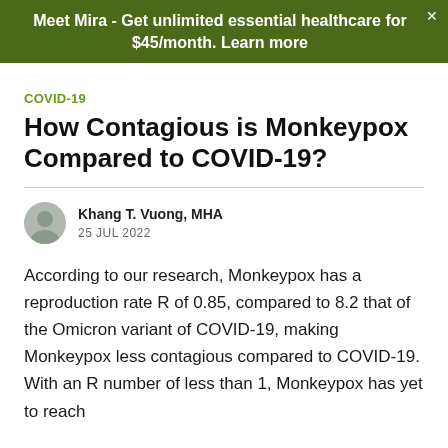Meet Mira - Get unlimited essential healthcare for $45/month. Learn more
COVID-19
How Contagious is Monkeypox Compared to COVID-19?
Khang T. Vuong, MHA
25 JUL 2022
According to our research, Monkeypox has a reproduction rate R of 0.85, compared to 8.2 that of the Omicron variant of COVID-19, making Monkeypox less contagious compared to COVID-19. With an R number of less than 1, Monkeypox has yet to reach